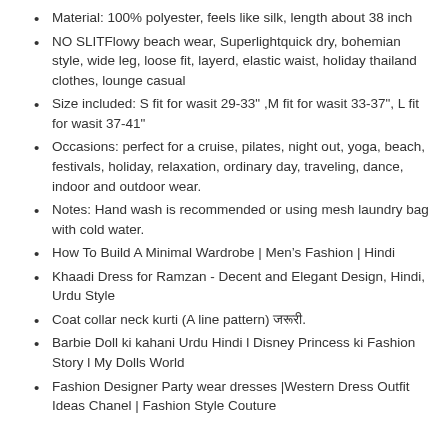Material: 100% polyester, feels like silk, length about 38 inch
NO SLIT​Flowy beach wear, Superlight​quick dry, bohemian style, wide leg, loose fit, layerd, elastic waist, holiday thailand clothes, lounge casual
Size included: S fit for wasit 29-33" ,M fit for wasit 33-37", L fit for wasit 37-41"
Occasions: perfect for a cruise, pilates, night out, yoga, beach, festivals, holiday, relaxation, ordinary day, traveling, dance, indoor and outdoor wear.
Notes: Hand wash is recommended or using mesh laundry bag with cold water.
How To Build A Minimal Wardrobe | Men’s Fashion | Hindi
Khaadi Dress for Ramzan - Decent and Elegant Design, Hindi, Urdu Style
Coat collar neck kurti (A line pattern) जरूरी.
Barbie Doll ki kahani Urdu Hindi l Disney Princess ki Fashion Story l My Dolls World
Fashion Designer Party wear dresses |Western Dress Outfit Ideas Chanel | Fashion Style Couture